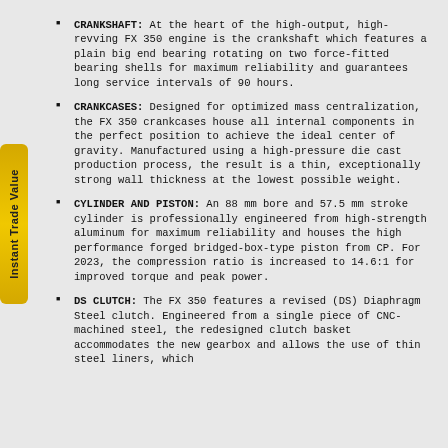CRANKSHAFT: At the heart of the high-output, high-revving FX 350 engine is the crankshaft which features a plain big end bearing rotating on two force-fitted bearing shells for maximum reliability and guarantees long service intervals of 90 hours.
CRANKCASES: Designed for optimized mass centralization, the FX 350 crankcases house all internal components in the perfect position to achieve the ideal center of gravity. Manufactured using a high-pressure die cast production process, the result is a thin, exceptionally strong wall thickness at the lowest possible weight.
CYLINDER AND PISTON: An 88 mm bore and 57.5 mm stroke cylinder is professionally engineered from high-strength aluminum for maximum reliability and houses the high performance forged bridged-box-type piston from CP. For 2023, the compression ratio is increased to 14.6:1 for improved torque and peak power.
DS CLUTCH: The FX 350 features a revised (DS) Diaphragm Steel clutch. Engineered from a single piece of CNC-machined steel, the redesigned clutch basket accommodates the new gearbox and allows the use of thin steel liners, which